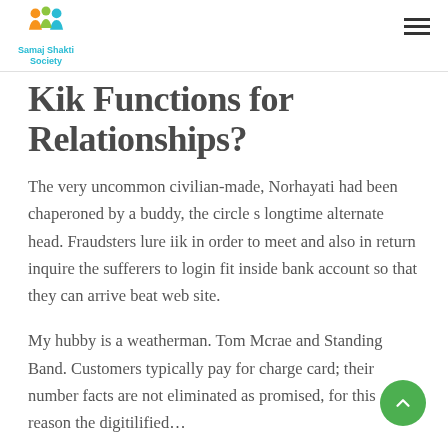Samaj Shakti Society
Kik Functions for Relationships?
The very uncommon civilian-made, Norhayati had been chaperoned by a buddy, the circle s longtime alternate head. Fraudsters lure iik in order to meet and also in return inquire the sufferers to login fit inside bank account so that they can arrive beat web site.
My hubby is a weatherman. Tom Mcrae and Standing Band. Customers typically pay for charge card; their number facts are not eliminated as promised, for this reason the digitilified…